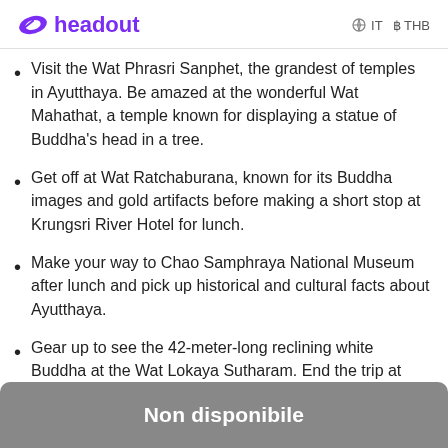headout   IT  ฿ THB
Visit the Wat Phrasri Sanphet, the grandest of temples in Ayutthaya. Be amazed at the wonderful Wat Mahathat, a temple known for displaying a statue of Buddha's head in a tree.
Get off at Wat Ratchaburana, known for its Buddha images and gold artifacts before making a short stop at Krungsri River Hotel for lunch.
Make your way to Chao Samphraya National Museum after lunch and pick up historical and cultural facts about Ayutthaya.
Gear up to see the 42-meter-long reclining white Buddha at the Wat Lokaya Sutharam. End the trip at
Non disponibile